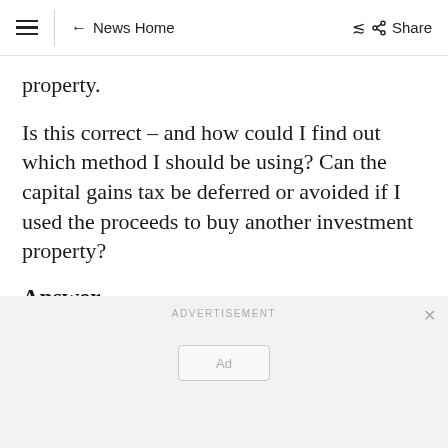≡ | ← News Home    Share
property.
Is this correct – and how could I find out which method I should be using? Can the capital gains tax be deferred or avoided if I used the proceeds to buy another investment property?
Answer